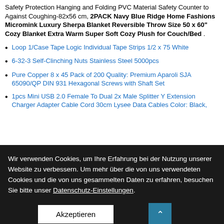Safety Protection Hanging and Folding PVC Material Safety Counter to Against Coughing-82x56 cm, 2PACK Navy Blue Ridge Home Fashions Micromink Luxury Sherpa Blanket Reversible Throw Size 50 x 60" Cozy Blanket Extra Warm Super Soft Cozy Plush for Couch/Bed .
Loop 1/Case Tape Logic Individual Tape Strips 1/2 x 75 White
6-32-3 Self-Clinching Nuts Stainless Steel 5000pcs
Pure Copper 8 x 45 Pack of 200 Quality: Premium Aparoli SJA 65090/QP DIN 931 Hexagonal Screws with Shaft Set
1pcs Mini USB 2.0 Female To Dual 2x Male Splitter Y Extension Charger Adapter Cable Cord 30cm Lysee Data Cables Color: Black,
Wir verwenden Cookies, um Ihre Erfahrung bei der Nutzung unserer Website zu verbessern. Um mehr über die von uns verwendeten Cookies und die von uns gesammelten Daten zu erfahren, besuchen Sie bitte unser Datenschutz-Einstellungen.
Akzeptieren